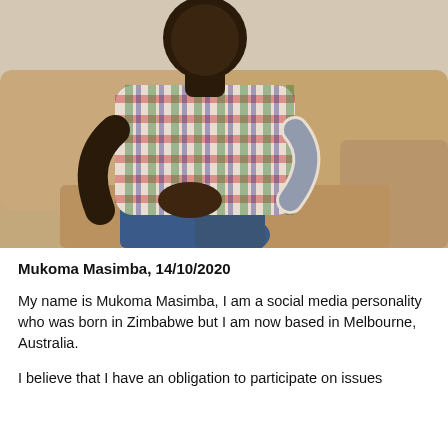[Figure (photo): A man wearing a plaid (checkered red, green, blue, white) shirt and blue jeans, sitting on a beige/tan couch with his hands clasped together, photographed indoors.]
Mukoma Masimba, 14/10/2020
My name is Mukoma Masimba, I am a social media personality who was born in Zimbabwe but I am now based in Melbourne, Australia.
I believe that I have an obligation to participate on issues